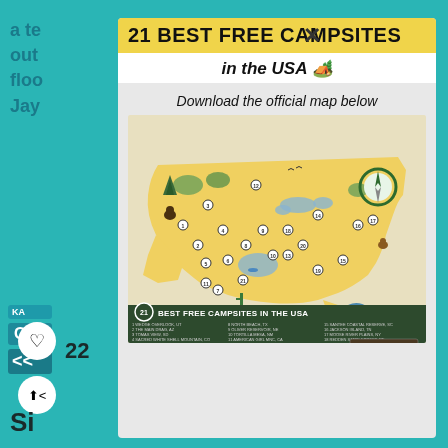21 BEST FREE CAMPSITES in the USA 🏕️
Download the official map below
[Figure (map): Illustrated map of the USA showing 21 best free campsites locations marked with numbers, featuring colorful illustrations of nature scenes, wildlife, and camping spots across the country. At the bottom is a dark green banner reading '21 BEST FREE CAMPSITES IN THE USA' with a numbered list of all 21 sites.]